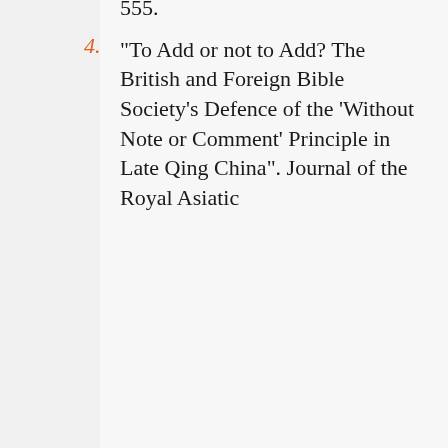4. “To Add or not to Add? The British and Foreign Bible Society’s Defence of the ‘Without Note or Comment’ Principle in Late Qing China”. Journal of the Royal Asiatic
Notice
We use cookies to help give you the best experience on our website. By continuing without changing your cookie setting, we assume you agree to this. Please read our cookie policy to find out more.